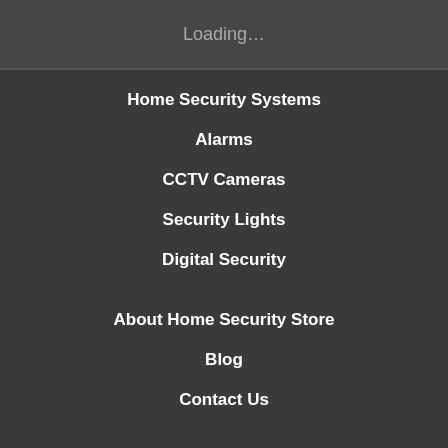Loading…
Home Security Systems
Alarms
CCTV Cameras
Security Lights
Digital Security
About Home Security Store
Blog
Contact Us
Home Automation
Garage Door Controllers
Robot Vacuums
Smart Devices